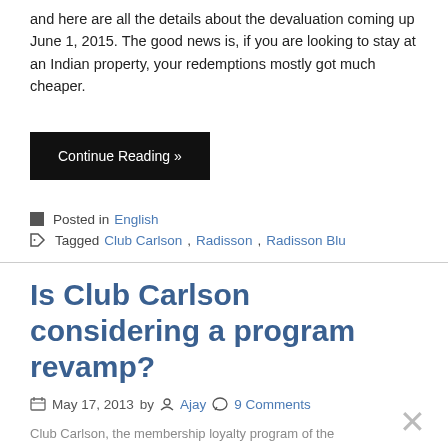and here are all the details about the devaluation coming up June 1, 2015. The good news is, if you are looking to stay at an Indian property, your redemptions mostly got much cheaper.
Continue Reading »
■ Posted in English
🏷 Tagged Club Carlson, Radisson, Radisson Blu
Is Club Carlson considering a program revamp?
May 17, 2013 by Ajay 9 Comments
Club Carlson, the membership loyalty program of the